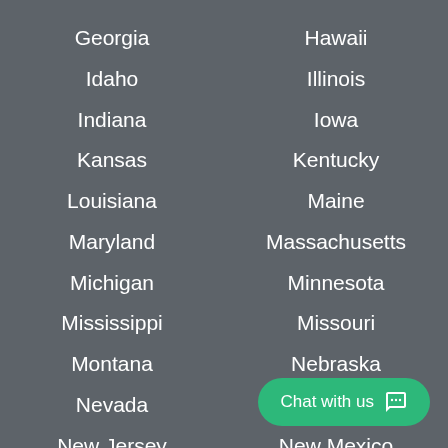Georgia
Hawaii
Idaho
Illinois
Indiana
Iowa
Kansas
Kentucky
Louisiana
Maine
Maryland
Massachusetts
Michigan
Minnesota
Mississippi
Missouri
Montana
Nebraska
Nevada
New Hampshire
New Jersey
New Mexico
New York
North Carolina
North Dakota
Oklahoma
Oregon